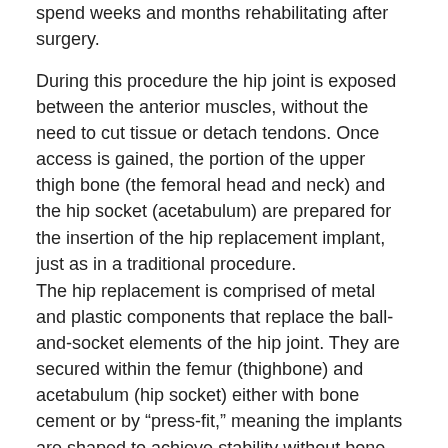spend weeks and months rehabilitating after surgery.
During this procedure the hip joint is exposed between the anterior muscles, without the need to cut tissue or detach tendons. Once access is gained, the portion of the upper thigh bone (the femoral head and neck) and the hip socket (acetabulum) are prepared for the insertion of the hip replacement implant, just as in a traditional procedure.
The hip replacement is comprised of metal and plastic components that replace the ball-and-socket elements of the hip joint. They are secured within the femur (thighbone) and acetabulum (hip socket) either with bone cement or by “press-fit,” meaning the implants are shaped to achieve stability without bone cement. Through the use of X-rays, physicians